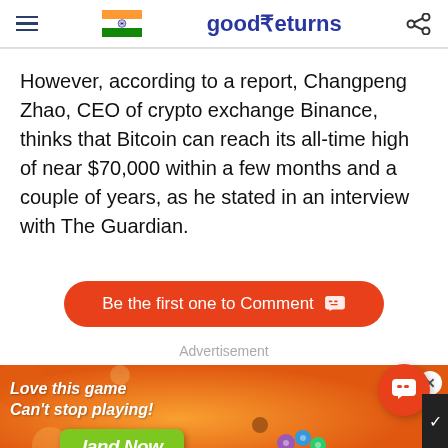goodReturns
However, according to a report, Changpeng Zhao, CEO of crypto exchange Binance, thinks that Bitcoin can reach its all-time high of near $70,000 within a few months and a couple of years, as he stated in an interview with The Guardian.
[Figure (screenshot): Orange-red pill-shaped button reading 'Be the first one to Comment' with a chat bubble icon]
Advertisement
[Figure (screenshot): Mobile game advertisement banner with orange gradient background, text 'Love this game Can't stop playing!', green 'land Now' button, decorative game icons, and a close X button]